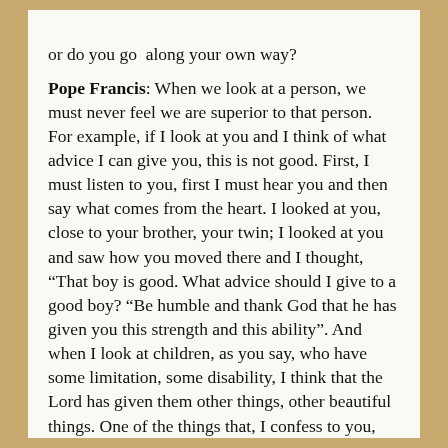or do you go along your own way?

Pope Francis: When we look at a person, we must never feel we are superior to that person. For example, if I look at you and I think of what advice I can give you, this is not good. First, I must listen to you, first I must hear you and then say what comes from the heart. I looked at you, close to your brother, your twin; I looked at you and saw how you moved there and I thought, "That boy is good. What advice should I give to a good boy? "Be humble and thank God that he has given you this strength and this ability". And when I look at children, as you say, who have some limitation, some disability, I think that the Lord has given them other things, other beautiful things. One of the things that, I confess to you, touches my heart is when I am with people who cannot see, and many times, many times they say to me, "Can I look at you?". At the beginning I didn't understand, but then I said, "Yes", and they touched my face with their hands and looked at me. What do I see, there? Creativity: a person